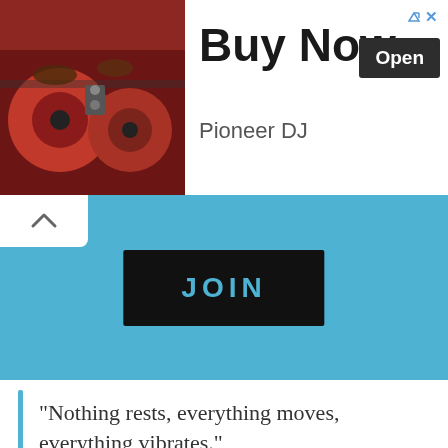[Figure (screenshot): Advertisement banner: DJ equipment image on left, 'Buy Now' text with 'Open' button and 'Pioneer DJ' text on right. Corner navigation arrows visible.]
[Figure (screenshot): Blue banner section with a white rounded-corner box containing upward chevron on top-left, and a black 'JOIN' button with teal text centered on the blue background.]
“Nothing rests, everything moves, everything vibrates.”
The Principle of Polarity
“Everything is Dual; everything has poles, everything has its pair of opposites; like and unlike are the same; opposites are identical in